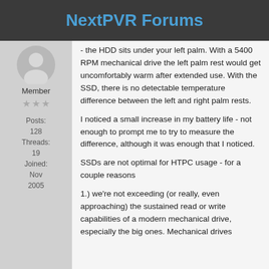NextPVR Forums
[Figure (illustration): Circular avatar placeholder icon for forum member]
Member
Posts: 128
Threads: 19
Joined: Nov 2005
- the HDD sits under your left palm. With a 5400 RPM mechanical drive the left palm rest would get uncomfortably warm after extended use. With the SSD, there is no detectable temperature difference between the left and right palm rests.
I noticed a small increase in my battery life - not enough to prompt me to try to measure the difference, although it was enough that I noticed.
SSDs are not optimal for HTPC usage - for a couple reasons
1.) we're not exceeding (or really, even approaching) the sustained read or write capabilities of a modern mechanical drive, especially the big ones. Mechanical drives